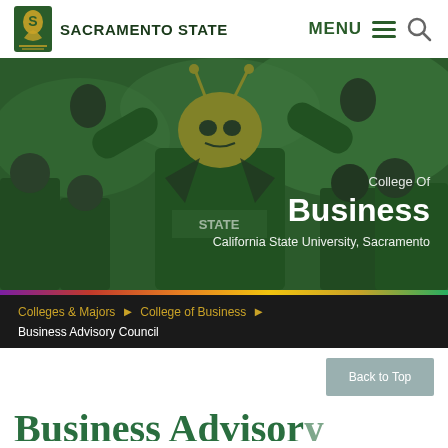SACRAMENTO STATE — MENU
[Figure (photo): Sacramento State mascot (Herky the Hornet) in costume with arms raised, surrounded by people wearing green Sacramento State apparel, with a green tint overlay. Text overlay reads: 'College Of Business — California State University, Sacramento']
College Of Business
California State University, Sacramento
Colleges & Majors ▶ College of Business ▶ Business Advisory Council
Back to Top
Business Advisory...